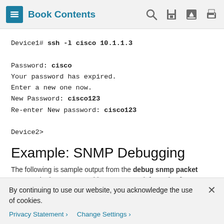Book Contents
Device1# ssh -l cisco 10.1.1.3

Password: cisco
Your password has expired.
Enter a new one now.
New Password: cisco123
Re-enter New password: cisco123

Device2>
Example: SNMP Debugging
The following is sample output from the debug snmp packet command. The output provides SNMP trap information for an
By continuing to use our website, you acknowledge the use of cookies.
Privacy Statement › Change Settings ›